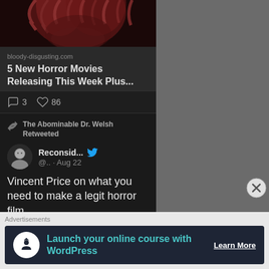[Figure (photo): Top portion of a horror movie image showing a creature or person with red/dark hair and monstrous face]
bloody-disgusting.com
5 New Horror Movies Releasing This Week Plus...
3   86
The Abominable Dr. Welsh Retweeted
Reconsid... @.. · Aug 22
Vincent Price on what you need to make a legit horror film.
[Figure (photo): Bottom preview image, partially visible, dark tones]
Advertisements
[Figure (infographic): Advertisement banner: Launch your online course with WordPress - Learn More]